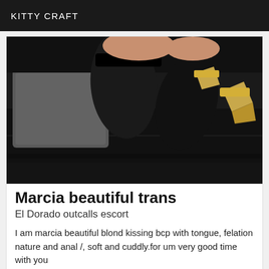KITTY CRAFT
[Figure (photo): Person's legs in black stockings and gold high heels posed on a black leather couch with grey pillows]
Marcia beautiful trans
El Dorado outcalls escort
I am marcia beautiful blond kissing bcp with tongue, felation nature and anal /, soft and cuddly.for um very good time with you